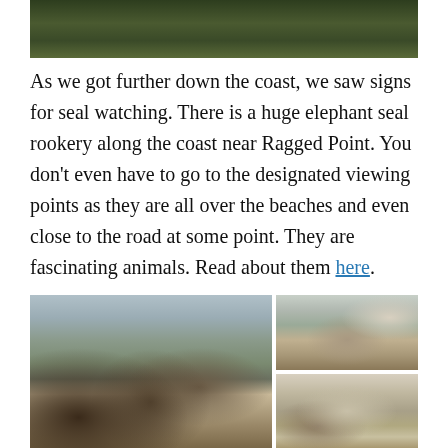[Figure (photo): Top portion of a photo showing dense green trees/forest vegetation, partially cropped at top of page]
As we got further down the coast, we saw signs for seal watching.  There is a huge elephant seal rookery along the coast near Ragged Point.  You don't even have to go to the designated viewing points as they are all over the beaches and even close to the road at some point.  They are fascinating animals.  Read about them here.
[Figure (photo): Three photos of elephant seals on a beach near Ragged Point: a large left photo showing many seals resting on sandy beach, top-right photo showing seals on beach with flag visible, bottom-right photo showing seals close up on sandy beach]